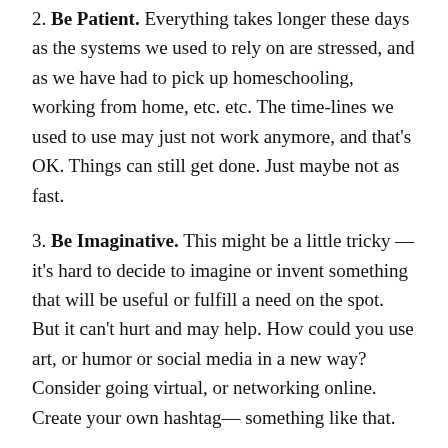2. Be Patient. Everything takes longer these days as the systems we used to rely on are stressed, and as we have had to pick up homeschooling, working from home, etc. etc. The time-lines we used to use may just not work anymore, and that's OK. Things can still get done. Just maybe not as fast.
3. Be Imaginative. This might be a little tricky — it's hard to decide to imagine or invent something that will be useful or fulfill a need on the spot. But it can't hurt and may help. How could you use art, or humor or social media in a new way? Consider going virtual, or networking online. Create your own hashtag— something like that.
4. And. MOST IMPORTANTLY– (I cannot stress this